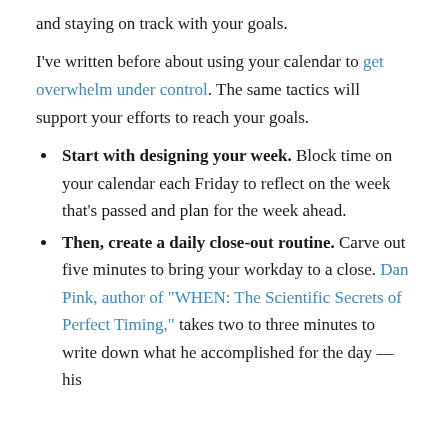and staying on track with your goals.
I've written before about using your calendar to get overwhelm under control. The same tactics will support your efforts to reach your goals.
Start with designing your week. Block time on your calendar each Friday to reflect on the week that's passed and plan for the week ahead.
Then, create a daily close-out routine. Carve out five minutes to bring your workday to a close. Dan Pink, author of "WHEN: The Scientific Secrets of Perfect Timing," takes two to three minutes to write down what he accomplished for the day — his